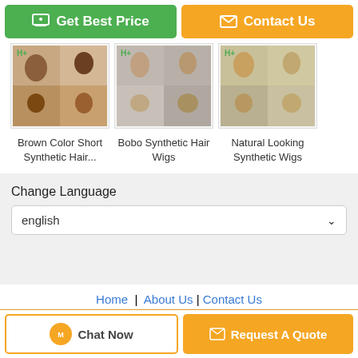[Figure (screenshot): Get Best Price green button and Contact Us orange button]
[Figure (photo): Three product images: Brown Color Short Synthetic Hair..., Bobo Synthetic Hair Wigs, Natural Looking Synthetic Wigs]
Brown Color Short Synthetic Hair...
Bobo Synthetic Hair Wigs
Natural Looking Synthetic Wigs
Change Language
english
Home | About Us | Contact Us
Desktop View
China lace cap wigs Supplier. Copyright © 2016 - 2022 hairwigextensions.com. All rights reserved. Developed by ECER
[Figure (screenshot): Chat Now and Request A Quote bottom buttons]